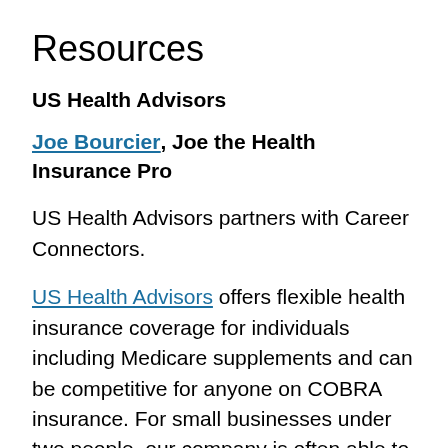Resources
US Health Advisors
Joe Bourcier, Joe the Health Insurance Pro
US Health Advisors partners with Career Connectors.
US Health Advisors offers flexible health insurance coverage for individuals including Medicare supplements and can be competitive for anyone on COBRA insurance. For small businesses under two people, our company is often able to offer